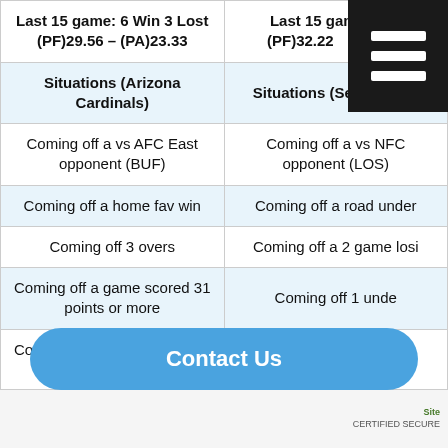| Arizona Cardinals | Seattle Seahawks |
| --- | --- |
| Last 15 game: 6 Win 3 Lost (PF)29.56 – (PA)23.33 | Last 15 game: Win (PF)32.22 – 29 |
| Situations (Arizona Cardinals) | Situations (Seattle Seal... |
| Coming off a vs AFC East opponent (BUF) | Coming off a vs NFC opponent (LOS) |
| Coming off a home fav win | Coming off a road under |
| Coming off 3 overs | Coming off a 2 game losing |
| Coming off a game scored 31 points or more | Coming off 1 under |
| Coming off a game scored 30 points or less against | Coming off a game scored points or less |
| Coming off a game home score | points c |
Contact Us